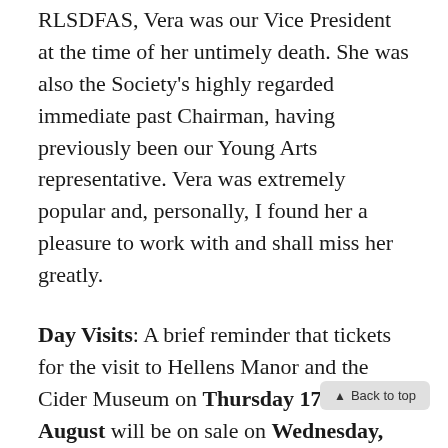RLSDFAS, Vera was our Vice President at the time of her untimely death. She was also the Society's highly regarded immediate past Chairman, having previously been our Young Arts representative. Vera was extremely popular and, personally, I found her a pleasure to work with and shall miss her greatly.
Day Visits: A brief reminder that tickets for the visit to Hellens Manor and the Cider Museum on Thursday 17th August will be on sale on Wednesday, 3rd May. A ticket costs £45.00. Any unsold tickets will be sold before the lectures on the 7th June. Also, if you are coming with us to Renishaw Hall, the coach will collect us near the gate to Jephson Gardens